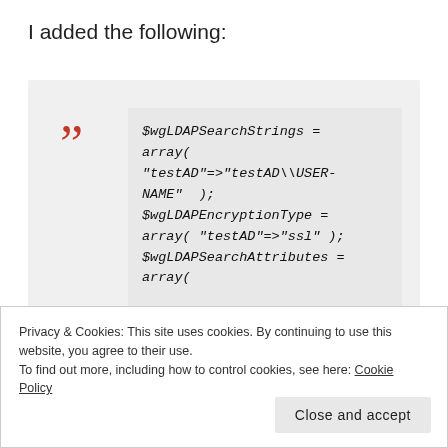I added the following:
$wgLDAPSearchStrings = array( "testAD"=>"testAD\\USER-NAME"  ); $wgLDAPEncryptionType = array( "testAD"=>"ssl" ); $wgLDAPSearchAttributes = array(
Privacy & Cookies: This site uses cookies. By continuing to use this website, you agree to their use.
To find out more, including how to control cookies, see here: Cookie Policy
Close and accept